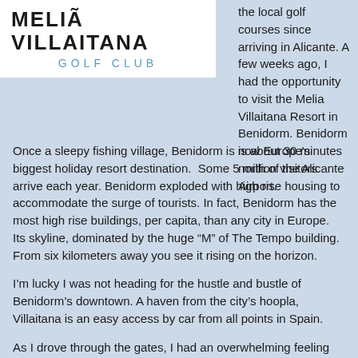[Figure (logo): Meliá Villaitana Golf Club logo — white background with bold black uppercase text 'MELIÃ VILLAITANA' and teal spaced text 'GOLF CLUB' below]
the local golf courses since arriving in Alicante. A few weeks ago, I had the opportunity to visit the Melia Villaitana Resort in Benidorm. Benidorm is about 30 minutes north of the Alicante Airport.
Once a sleepy fishing village, Benidorm is now Europe's biggest holiday resort destination.  Some 5 million visitors arrive each year. Benidorm exploded with high rise housing to accommodate the surge of tourists. In fact, Benidorm has the most high rise buildings, per capita, than any city in Europe. Its skyline, dominated by the huge "M" of The Tempo building.  From six kilometers away you see it rising on the horizon.
I'm lucky I was not heading for the hustle and bustle of Benidorm's downtown. A haven from the city's hoopla, Villaitana is an easy access by car from all points in Spain.
As I drove through the gates, I had an overwhelming feeling that I had been here before. This dèjá vu stayed with me until I played my first round of golf. On the third hole of the Lavante Course, it